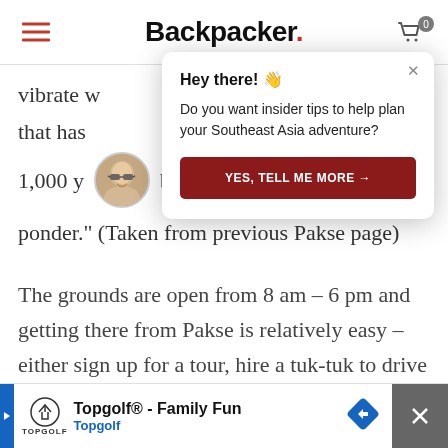Backpacker.
vibrate w
that has
1,000 y
ponder." (Taken from previous Pakse page)
The grounds are open from 8 am – 6 pm and getting there from Pakse is relatively easy – either sign up for a tour, hire a tuk-tuk to drive
[Figure (screenshot): Modal popup overlay with heading 'Hey there! 👋', message 'Do you want insider tips to help plan your Southeast Asia adventure?', and a dark red button 'YES, TELL ME MORE →']
[Figure (screenshot): Advertisement banner at bottom: Topgolf® - Family Fun, Topgolf logo, blue navigation arrow icon, and close X button on right]